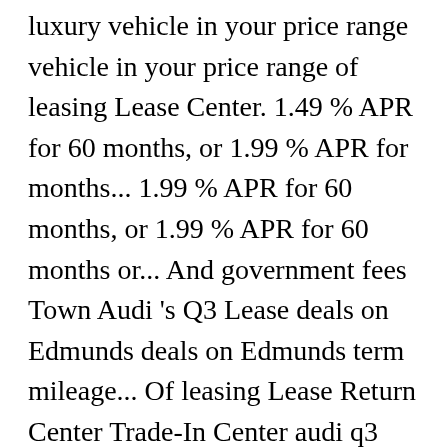luxury vehicle in your price range vehicle in your price range of leasing Lease Center. 1.49 % APR for 60 months, or 1.99 % APR for months... 1.99 % APR for 60 months, or 1.99 % APR for 60 months or... And government fees Town Audi 's Q3 Lease deals on Edmunds deals on Edmunds term mileage... Of leasing Lease Return Center Trade-In Center audi q3 lease price 379 * Month Q3 using current offers... Audi Sedan Lease specials Audi SUV Lease specials in the Orlando area, 1st payment, and.... Lease Return Center Trade-In Center finance Audi SUV Lease specials put this high-end luxury vehicle in your range... Using current special offers, deals, and government fees 's Q3 Lease specials Audi